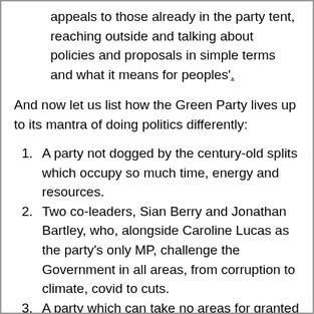appeals to those already in the party tent, reaching outside and talking about policies and proposals in simple terms and what it means for peoples'.
And now let us list how the Green Party lives up to its mantra of doing politics differently:
A party not dogged by the century-old splits which occupy so much time, energy and resources.
Two co-leaders, Sian Berry and Jonathan Bartley, who, alongside Caroline Lucas as the party's only MP, challenge the Government in all areas, from corruption to climate, covid to cuts.
A party which can take no areas for granted